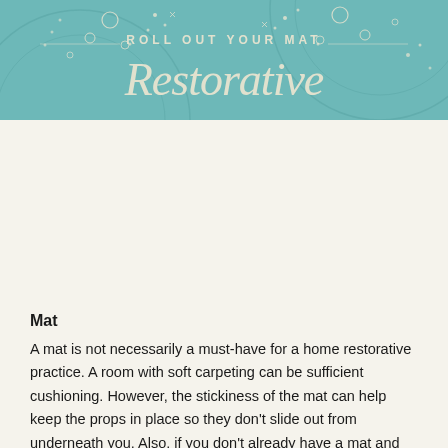[Figure (illustration): Decorative banner with teal/mint background, showing text 'ROLL OUT YOUR MAT' in small caps and 'Restorative' in large script font, with circular decorative elements, dots, and line patterns in cream/white.]
Mat
A mat is not necessarily a must-have for a home restorative practice. A room with soft carpeting can be sufficient cushioning. However, the stickiness of the mat can help keep the props in place so they don't slide out from underneath you. Also, if you don't already have a mat and are looking to return to the studio, the safest option is to bring your own mat. Some studios may no longer be offering mats to help keep